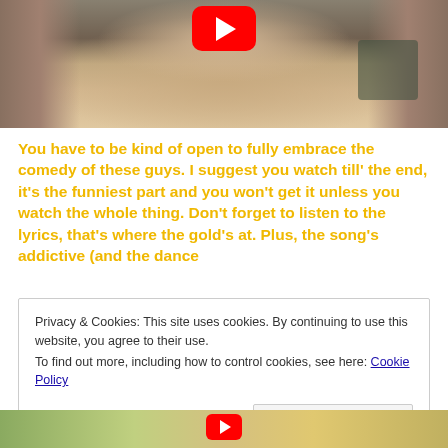[Figure (screenshot): YouTube video thumbnail showing a close-up of a person's face with blonde hair, with a red YouTube play button overlay at the top]
You have to be kind of open to fully embrace the comedy of these guys. I suggest you watch till' the end, it's the funniest part and you won't get it unless you watch the whole thing. Don't forget to listen to the lyrics, that's where the gold's at. Plus, the song's addictive (and the dance
Privacy & Cookies: This site uses cookies. By continuing to use this website, you agree to their use.
To find out more, including how to control cookies, see here: Cookie Policy
[Figure (screenshot): Partial YouTube video thumbnail at the bottom of the page showing a person outdoors with a red YouTube play button overlay]